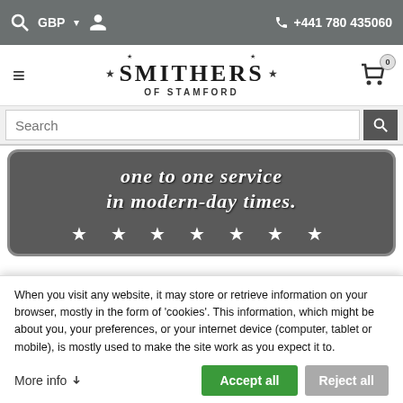GBP  +441 780 435060
[Figure (logo): Smithers of Stamford logo with stars and hamburger menu]
Search
[Figure (infographic): Dark grey banner with italic white text: 'one to one service in modern-day times.' with seven stars below]
When you visit any website, it may store or retrieve information on your browser, mostly in the form of 'cookies'. This information, which might be about you, your preferences, or your internet device (computer, tablet or mobile), is mostly used to make the site work as you expect it to.
More info
Accept all
Reject all
theory remains small - a personal service is the only